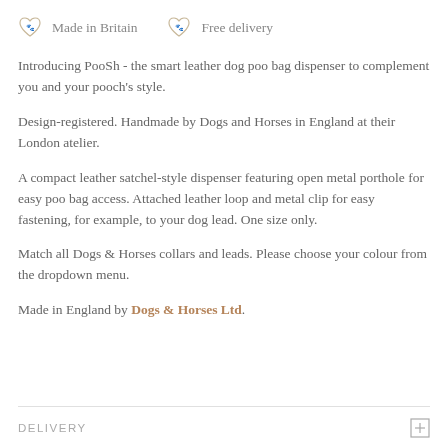Made in Britain   Free delivery
Introducing PooSh - the smart leather dog poo bag dispenser to complement you and your pooch's style.
Design-registered. Handmade by Dogs and Horses in England at their London atelier.
A compact leather satchel-style dispenser featuring open metal porthole for easy poo bag access. Attached leather loop and metal clip for easy fastening, for example, to your dog lead. One size only.
Match all Dogs & Horses collars and leads. Please choose your colour from the dropdown menu.
Made in England by Dogs & Horses Ltd.
DELIVERY